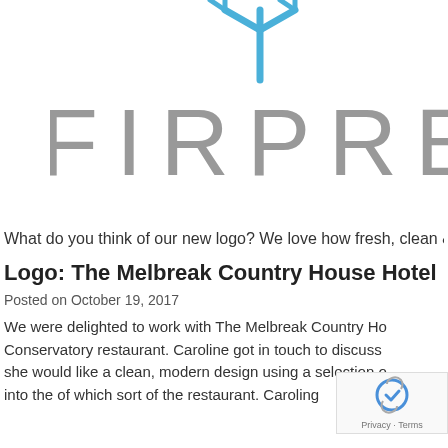[Figure (logo): FIRPRESS logo — partial view showing blue branching icon at top and large gray spaced letters 'FIRPRES' (cut off at right edge)]
What do you think of our new logo? We love how fresh, clean & mo...
Logo: The Melbreak Country House Hotel
Posted on October 19, 2017
We were delighted to work with The Melbreak Country Ho... Conservatory restaurant. Caroline got in touch to discuss... she would like a clean, modern design using a selection o... into the of which sort of the restaurant. Caroling...